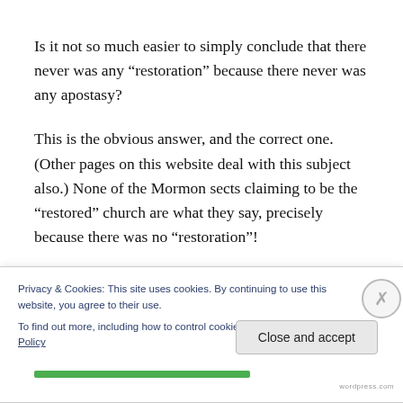Is it not so much easier to simply conclude that there never was any “restoration” because there never was any apostasy?
This is the obvious answer, and the correct one. (Other pages on this website deal with this subject also.) None of the Mormon sects claiming to be the “restored” church are what they say, precisely because there was no “restoration”!
Privacy & Cookies: This site uses cookies. By continuing to use this website, you agree to their use.
To find out more, including how to control cookies, see here: Cookie Policy
Close and accept